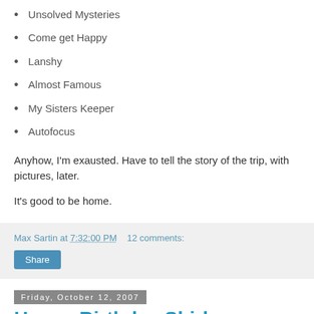Unsolved Mysteries
Come get Happy
Lanshy
Almost Famous
My Sisters Keeper
Autofocus
Anyhow, I'm exausted. Have to tell the story of the trip, with pictures, later.
It's good to be home.
Max Sartin at 7:32:00 PM   12 comments:
Share
Friday, October 12, 2007
Happy Birthday Shirley